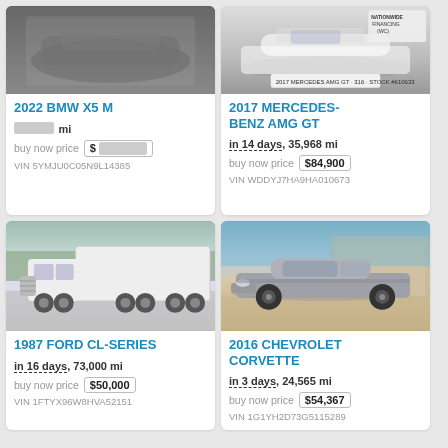[Figure (photo): Blurred/pixelated photo of 2022 BMW X5 M]
2022 BMW X5 M
[blurred] mi
buy now price $[blurred]
VIN 5YMJU0C05N9L14385
[Figure (photo): Photo of 2017 Mercedes-Benz AMG GT, white car]
2017 MERCEDES-BENZ AMG GT
in 14 days, 35,968 mi
buy now price $84,900
VIN WDDYJ7HA9HA010673
[Figure (photo): Photo of 1987 Ford CL-Series semi truck, white]
1987 FORD CL-SERIES
in 16 days, 73,000 mi
buy now price $50,000
VIN 1FTYX96W8HVA52151
[Figure (photo): Photo of 2016 Chevrolet Corvette, silver/gray]
2016 CHEVROLET CORVETTE
in 3 days, 24,565 mi
buy now price $54,367
VIN 1G1YH2D73G5115289